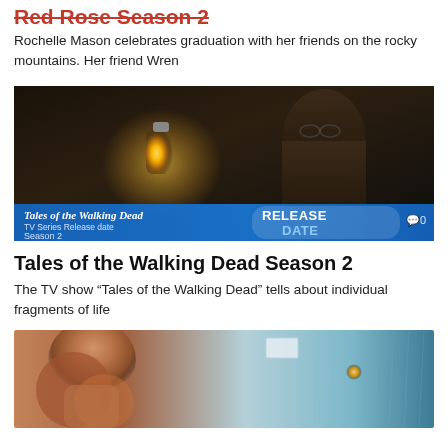Red Rose Season 2
Rochelle Mason celebrates graduation with her friends on the rocky mountains. Her friend Wren
[Figure (photo): Dark cinematic scene of a man holding a glowing lantern, with a banner overlay reading 'Tales of the Walking Dead TV Series Release date Season 2' and 'RELEASE DATE' on a blue gradient banner. A speech bubble icon and '0' appear on the right.]
Tales of the Walking Dead Season 2
The TV show “Tales of the Walking Dead” tells about individual fragments of life
[Figure (photo): Cinematic still of a woman with auburn hair looking upward, with a blurred background showing windows and an orange light dot, suggesting a rain-streaked glass panel on the right side.]